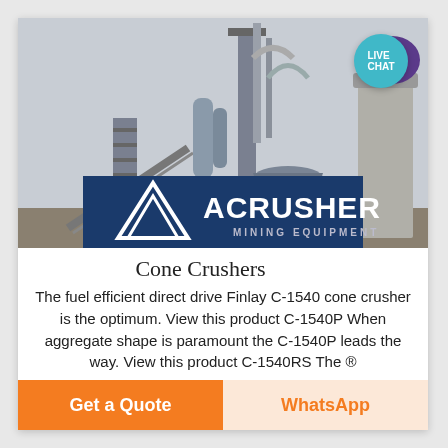[Figure (photo): Industrial cement plant / crushing facility with blue ACRUSHER MINING EQUIPMENT logo overlay at bottom. Live chat teal circle badge top right. Rocket icon bottom right of image.]
Cone Crushers
The fuel efficient direct drive Finlay C-1540 cone crusher is the optimum. View this product C-1540P When aggregate shape is paramount the C-1540P leads the way. View this product C-1540RS The ®